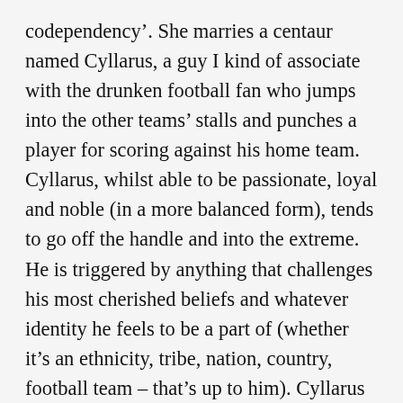codependency'. She marries a centaur named Cyllarus, a guy I kind of associate with the drunken football fan who jumps into the other teams' stalls and punches a player for scoring against his home team. Cyllarus, whilst able to be passionate, loyal and noble (in a more balanced form), tends to go off the handle and into the extreme. He is triggered by anything that challenges his most cherished beliefs and whatever identity he feels to be a part of (whether it's an ethnicity, tribe, nation, country, football team – that's up to him). Cyllarus goes off and gets himself killed … with a spear through the chest. There's a sense of rushing headlong into things without much thought, but he does it anyway. Hylonome, on the other hand, seeing her dead husband, throws herself on the spear after him. She cannot bear to live without him and consider an existence that is separate and complete